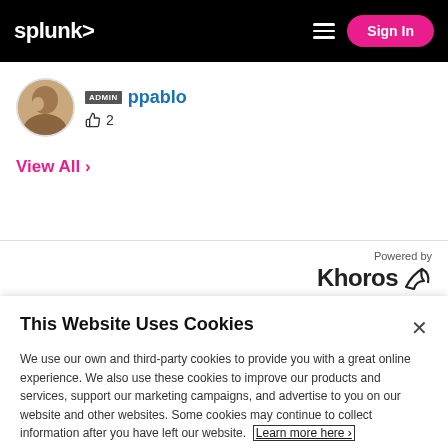splunk> | Sign In
ADMIN ppablo 👍 2
View All ›
Powered by Khoros
This Website Uses Cookies
We use our own and third-party cookies to provide you with a great online experience. We also use these cookies to improve our products and services, support our marketing campaigns, and advertise to you on our website and other websites. Some cookies may continue to collect information after you have left our website. Learn more here ›
Accept Cookies   Cookies Settings ›